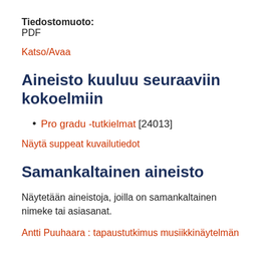Tiedostomuoto: PDF
Katso/Avaa
Aineisto kuuluu seuraaviin kokoelmiin
Pro gradu -tutkielmat [24013]
Näytä suppeat kuvailutiedot
Samankaltainen aineisto
Näytetään aineistoja, joilla on samankaltainen nimeke tai asiasanat.
Antti Puuhaara : tapaustutkimus musiikkinäytelmän